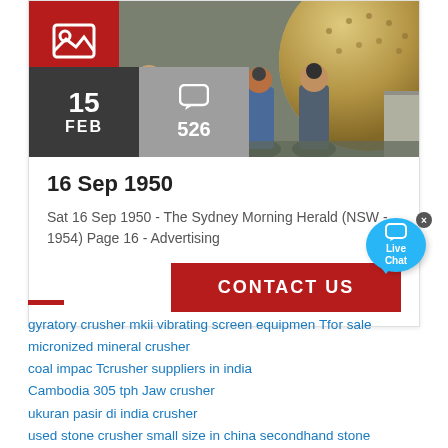[Figure (photo): Group of people standing in front of large industrial mining ball mill equipment, with a red icon box in the top-left corner showing an image icon, a dark grey date box showing '15 FEB', and a grey comment box showing a chat icon and '526'.]
16 Sep 1950
Sat 16 Sep 1950 - The Sydney Morning Herald (NSW - 1954) Page 16 - Advertising
CONTACT US
gyratory crusher mkii  vibrating screen equipmen Tfor sale
micronized mineral crusher
coal impac Tcrusher suppliers in india
Cambodia 305 tph Jaw crusher
ukuran pasir di india crusher
used stone crusher small size in china secondhand stone